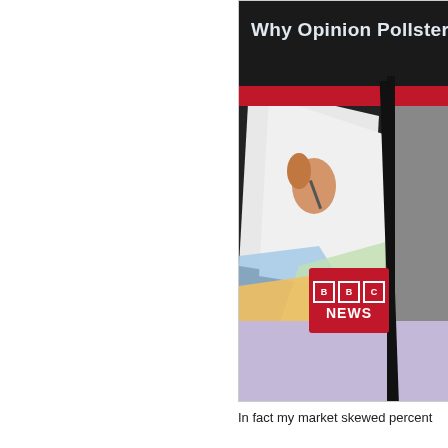[Figure (screenshot): A BBC News screenshot showing a partially visible headline 'Why Opinion Pollsters' over an image of someone marking a ballot paper with colourful papers visible. The BBC News logo appears in a red box at the bottom right of the screen.]
In fact my market skewed percent